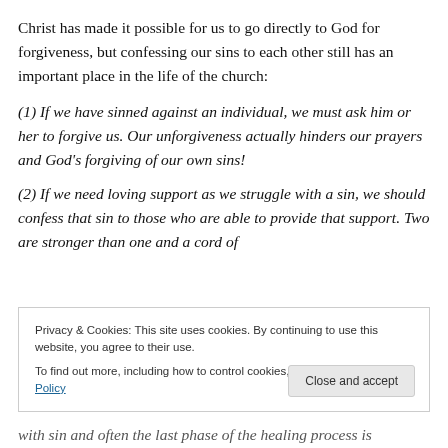Christ has made it possible for us to go directly to God for forgiveness, but confessing our sins to each other still has an important place in the life of the church:
(1) If we have sinned against an individual, we must ask him or her to forgive us. Our unforgiveness actually hinders our prayers and God's forgiving of our own sins!
(2) If we need loving support as we struggle with a sin, we should confess that sin to those who are able to provide that support. Two are stronger than one and a cord of
Privacy & Cookies: This site uses cookies. By continuing to use this website, you agree to their use. To find out more, including how to control cookies, see here: Cookie Policy
Close and accept
with sin and often the last phase of the healing process is